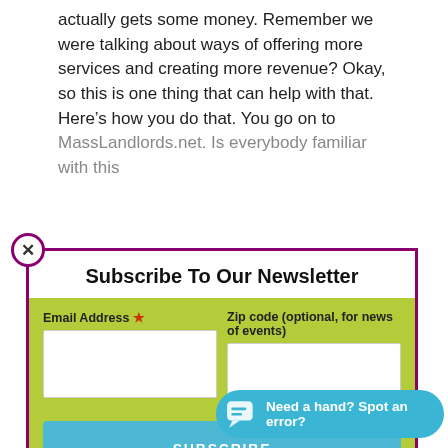actually gets some money. Remember we were talking about ways of offering more services and creating more revenue? Okay, so this is one thing that can help with that.
Here’s how you do that. You go on to MassLandlords.net. Is everybody familiar with this
[Figure (screenshot): Newsletter subscription modal popup with purple border. Contains title 'Subscribe To Our Newsletter', a green form area with Email Address (required) and Zip code (optional, for news of events) input fields, and a blue SUBSCRIBE button. A close (X) button is in the top-left corner of the modal.]
money for other things like that. There are common extra fees
[Figure (other): Blue chat widget button in bottom-right: speech bubble icon with text 'Need a hand? Spot an error?']